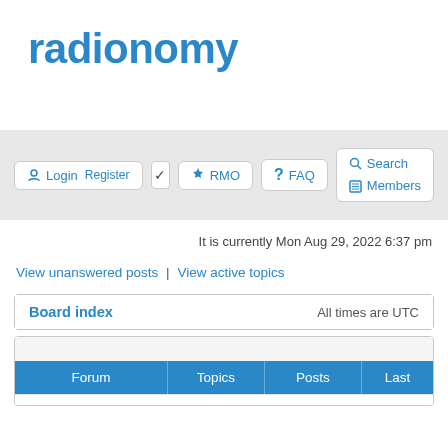radionomy
Login  Register  ☑  RMO  FAQ  Search  Members
It is currently Mon Aug 29, 2022 6:37 pm
View unanswered posts | View active topics
| Board index | All times are UTC |
| --- | --- |
| Forum | Topics | Posts | Last |
| --- | --- | --- | --- |